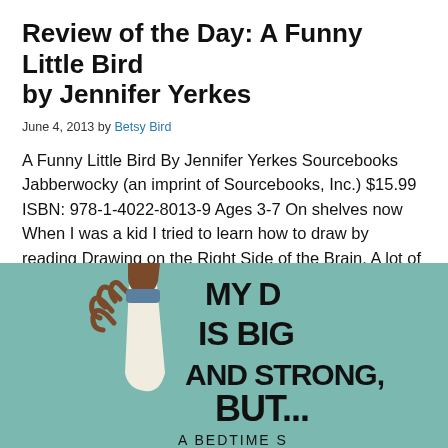Review of the Day: A Funny Little Bird by Jennifer Yerkes
June 4, 2013 by Betsy Bird
A Funny Little Bird By Jennifer Yerkes Sourcebooks Jabberwocky (an imprint of Sourcebooks, Inc.) $15.99 ISBN: 978-1-4022-8013-9 Ages 3-7 On shelves now When I was a kid I tried to learn how to draw by reading Drawing on the Right Side of the Brain. A lot of the book was dedicated to showing your average […]
[Figure (illustration): Book cover illustration showing a cartoon arm/hand reaching up against a teal/green background with bold text reading 'MY D... IS BIG AND STRONG, BUT... A BEDTIME S...']